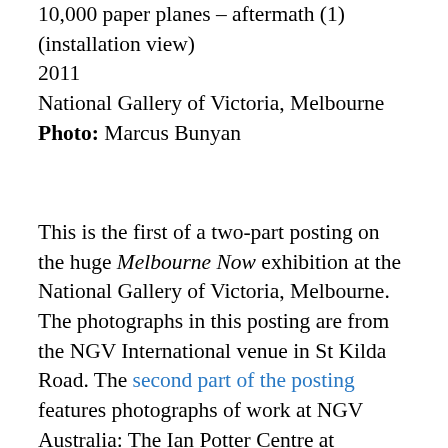10,000 paper planes – aftermath (1) (installation view) 2011
National Gallery of Victoria, Melbourne
Photo: Marcus Bunyan
This is the first of a two-part posting on the huge Melbourne Now exhibition at the National Gallery of Victoria, Melbourne. The photographs in this posting are from the NGV International venue in St Kilda Road. The second part of the posting features photographs of work at NGV Australia: The Ian Potter Centre at Federation Square. Melbourne Now celebrates the latest art, architecture, design, performance and cultural practice to reflect the complex cultural landscape of creative